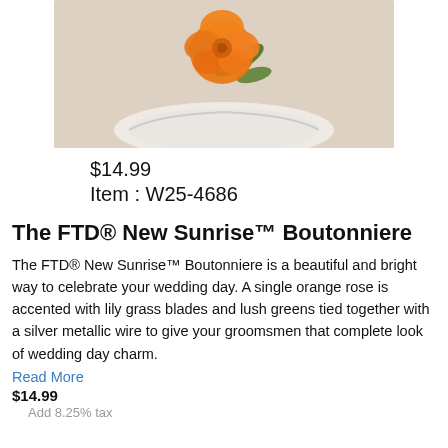[Figure (photo): Photo of an orange rose boutonniere on a white plate/surface, cropped from top]
$14.99
Item : W25-4686
The FTD® New Sunrise™ Boutonniere
The FTD® New Sunrise™ Boutonniere is a beautiful and bright way to celebrate your wedding day. A single orange rose is accented with lily grass blades and lush greens tied together with a silver metallic wire to give your groomsmen that complete look of wedding day charm.
Read More
$14.99
Add 8.25% tax